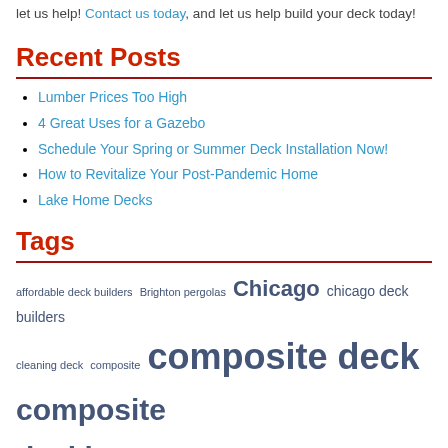let us help! Contact us today, and let us help build your deck today!
Recent Posts
Lumber Prices Too High
4 Great Uses for a Gazebo
Schedule Your Spring or Summer Deck Installation Now!
How to Revitalize Your Post-Pandemic Home
Lake Home Decks
Tags
affordable deck builders Brighton pergolas Chicago chicago deck builders cleaning deck composite composite deck composite decking composite deck material Composite decks custom deck builders Lake Detroit Deck deck accessories deck builders